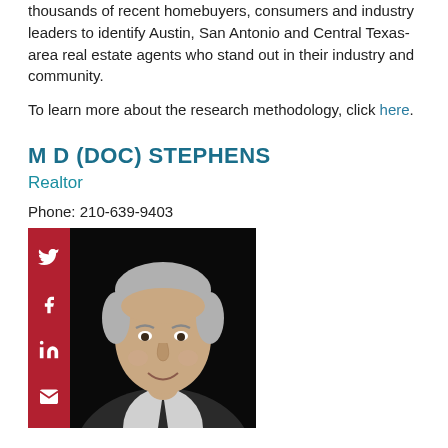thousands of recent homebuyers, consumers and industry leaders to identify Austin, San Antonio and Central Texas-area real estate agents who stand out in their industry and community.
To learn more about the research methodology, click here.
M D (DOC) STEPHENS
Realtor
Phone: 210-639-9403
[Figure (photo): Profile photo of M D (Doc) Stephens, an older man with grey hair, wearing a suit and tie, smiling, on a dark background. A red sidebar with social media icons (Twitter, Facebook, LinkedIn, Email) is on the left.]
ELLEN STEPHENS
Realtor